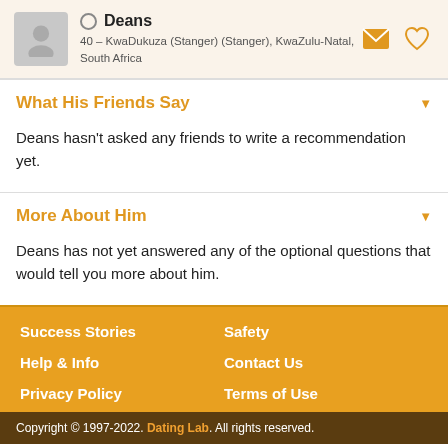Deans — 40 – KwaDukuza (Stanger) (Stanger), KwaZulu-Natal, South Africa
What His Friends Say
Deans hasn't asked any friends to write a recommendation yet.
More About Him
Deans has not yet answered any of the optional questions that would tell you more about him.
Success Stories | Safety | Help & Info | Contact Us | Privacy Policy | Terms of Use | Copyright © 1997-2022. Dating Lab. All rights reserved.